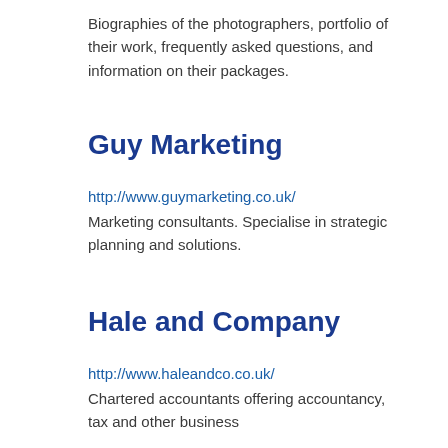Biographies of the photographers, portfolio of their work, frequently asked questions, and information on their packages.
Guy Marketing
http://www.guymarketing.co.uk/
Marketing consultants. Specialise in strategic planning and solutions.
Hale and Company
http://www.haleandco.co.uk/
Chartered accountants offering accountancy, tax and other business